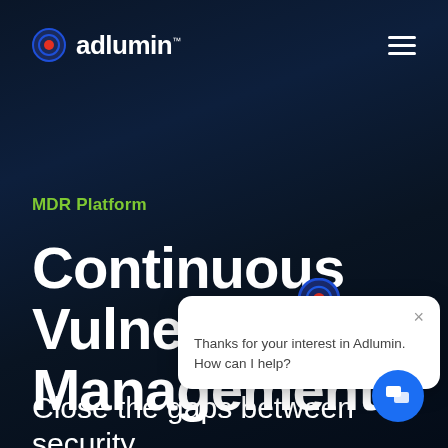[Figure (logo): Adlumin logo with red/blue circular icon and white text 'adlumin.' with trademark symbol]
MDR Platform
Continuous Vulnerability Management
Close the gaps between security
[Figure (screenshot): Chat popup widget with Adlumin icon saying 'Thanks for your interest in Adlumin. How can I help?' with close X button and blue chat button in bottom right]